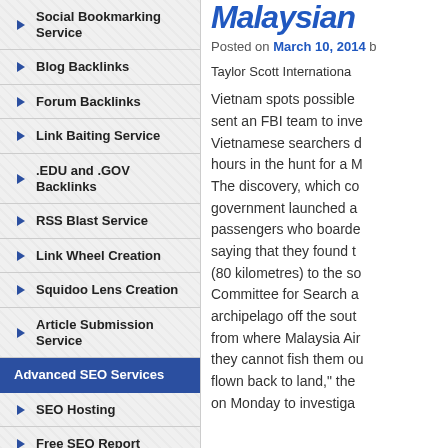Social Bookmarking Service
Blog Backlinks
Forum Backlinks
Link Baiting Service
.EDU and .GOV Backlinks
RSS Blast Service
Link Wheel Creation
Squidoo Lens Creation
Article Submission Service
Advanced SEO Services
SEO Hosting
Free SEO Report
Keyword Research
Malaysian
Posted on March 10, 2014 b
Taylor Scott Internationa
Vietnam spots possible sent an FBI team to inve Vietnamese searchers d hours in the hunt for a M The discovery, which co government launched a passengers who boarde saying that they found t (80 kilometres) to the so Committee for Search a archipelago off the sout from where Malaysia Air they cannot fish them ou flown back to land," the on Monday to investiga